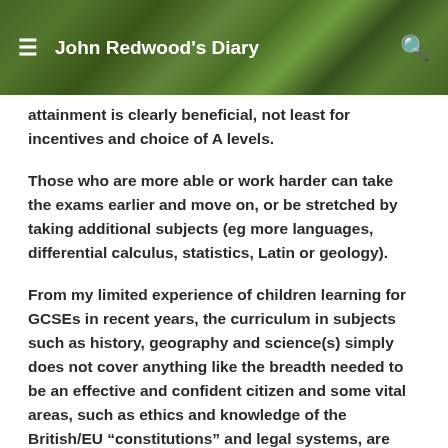John Redwood's Diary
attainment is clearly beneficial, not least for incentives and choice of A levels.
Those who are more able or work harder can take the exams earlier and move on, or be stretched by taking additional subjects (eg more languages, differential calculus, statistics, Latin or geology).
From my limited experience of children learning for GCSEs in recent years, the curriculum in subjects such as history, geography and science(s) simply does not cover anything like the breadth needed to be an effective and confident citizen and some vital areas, such as ethics and knowledge of the British/EU “constitutions” and legal systems, are given short shrift. Too much is only of interest or value to those who will